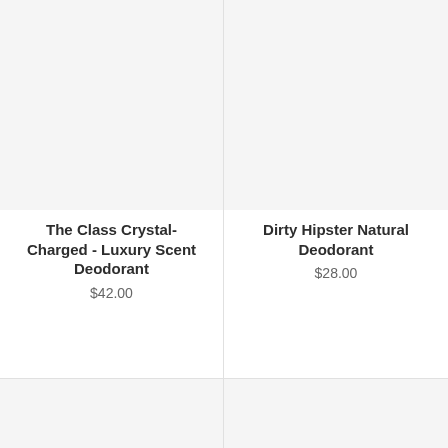[Figure (photo): Product image placeholder - light gray background for The Class Crystal-Charged Luxury Scent Deodorant]
The Class Crystal-Charged - Luxury Scent Deodorant
$42.00
[Figure (photo): Product image placeholder - light gray background for Dirty Hipster Natural Deodorant]
Dirty Hipster Natural Deodorant
$28.00
[Figure (photo): Product image placeholder - light gray background, bottom-left product]
[Figure (photo): Product image placeholder - light gray background, bottom-right product]